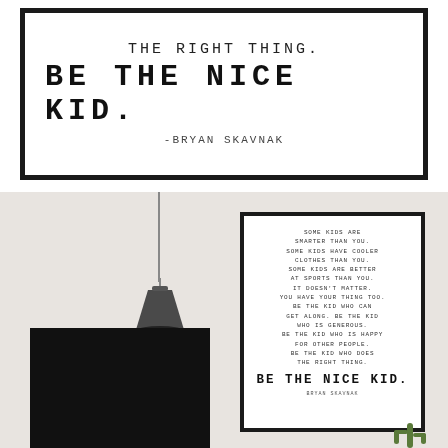[Figure (illustration): Framed typographic poster (large, top) with monospace text reading 'THE RIGHT THING. BE THE NICE KID. -BRYAN SKAVNAK' in uppercase, black border on white background.]
[Figure (photo): Room scene photograph showing an off-white/cream wall with a hanging industrial pendant lamp (dark metal shade), a framed typographic poster on the right with the full 'Be the Nice Kid' quote text, and a black rectangle frame/chalkboard in the lower left. A small cactus is visible in the bottom right corner.]